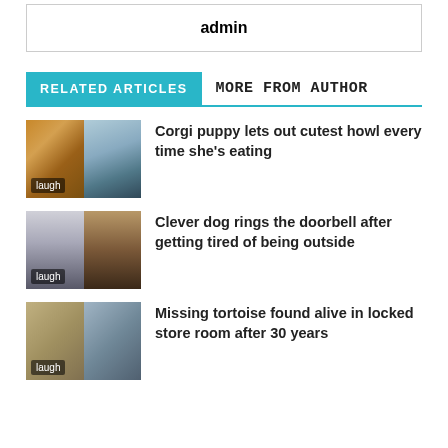admin
RELATED ARTICLES  MORE FROM AUTHOR
[Figure (photo): Two images of a Corgi puppy with a food bowl]
laugh
Corgi puppy lets out cutest howl every time she's eating
[Figure (photo): Two images of a dog at a doorbell]
laugh
Clever dog rings the doorbell after getting tired of being outside
[Figure (photo): Two images of a tortoise]
laugh
Missing tortoise found alive in locked store room after 30 years